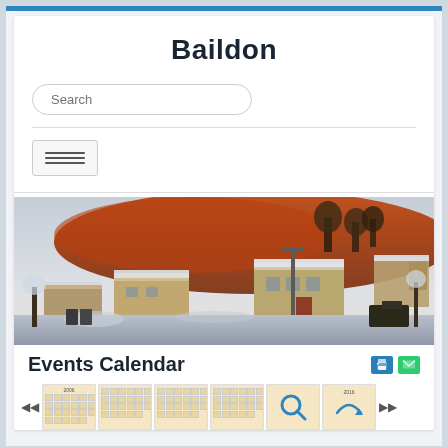Baildon
[Figure (screenshot): Search input box with rounded border and placeholder text 'Search']
[Figure (screenshot): Hamburger menu button with three horizontal lines]
[Figure (photo): Winter landscape photo of Baildon showing snow-covered buildings and trees in the foreground, with orange/amber-lit hillside in the background under a pale sky]
Events Calendar
[Figure (screenshot): Calendar strip showing multiple small monthly calendar thumbnails with navigation arrows, including a 2006 year label visible and a search/zoom icon and refresh icon on the right end]